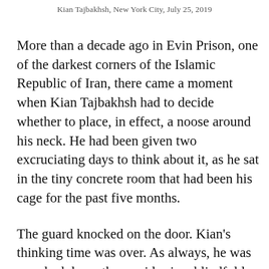Kian Tajbakhsh, New York City, July 25, 2019
More than a decade ago in Evin Prison, one of the darkest corners of the Islamic Republic of Iran, there came a moment when Kian Tajbakhsh had to decide whether to place, in effect, a noose around his neck. He had been given two excruciating days to think about it, as he sat in the tiny concrete room that had been his cage for the past five months.
The guard knocked on the door. Kian's thinking time was over. As always, he was marched down the corridor in a blindfold that was removed once he sat on the chair with its little wooden table that reminded him of school exams, facing the wall of the interrogation room. The junior guard stood to